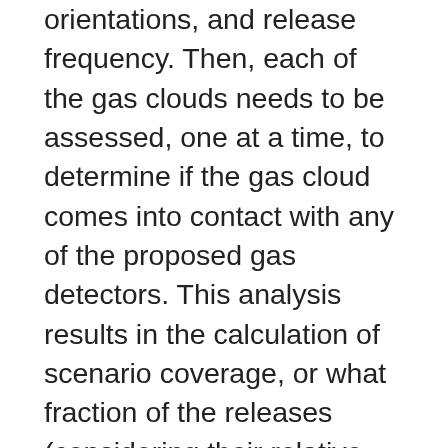orientations, and release frequency. Then, each of the gas clouds needs to be assessed, one at a time, to determine if the gas cloud comes into contact with any of the proposed gas detectors. This analysis results in the calculation of scenario coverage, or what fraction of the releases (considering their relative frequencies) will be detected by a given array of detectors. This coverage assessment is compared against a numerical target (e.g., 80%) that is defined for the area based on the level of